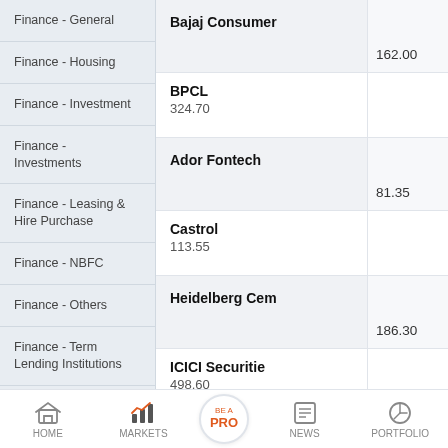Finance - General
Finance - Housing
Finance - Investment
Finance - Investments
Finance - Leasing & Hire Purchase
Finance - NBFC
Finance - Others
Finance - Term Lending Institutions
| Company | Price |
| --- | --- |
| Bajaj Consumer | 162.00 |
| BPCL | 324.70 |
| Ador Fontech | 81.35 |
| Castrol | 113.55 |
| Heidelberg Cem | 186.30 |
| ICICI Securitie | 498.60 |
| Glenmark Life |  |
HOME  MARKETS  BE A PRO  NEWS  PORTFOLIO